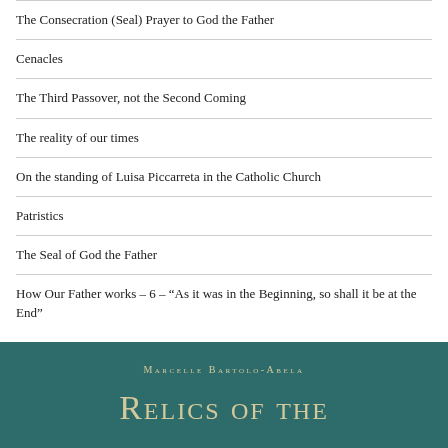The Consecration (Seal) Prayer to God the Father
Cenacles
The Third Passover, not the Second Coming
The reality of our times
On the standing of Luisa Piccarreta in the Catholic Church
Patristics
The Seal of God the Father
How Our Father works – 6 – “As it was in the Beginning, so shall it be at the End”
[Figure (illustration): Book cover with teal/dark green background showing author name 'Marcelle Bartolo-Abela' in small caps and book title 'Relics of the' in large decorative small-caps gold lettering]